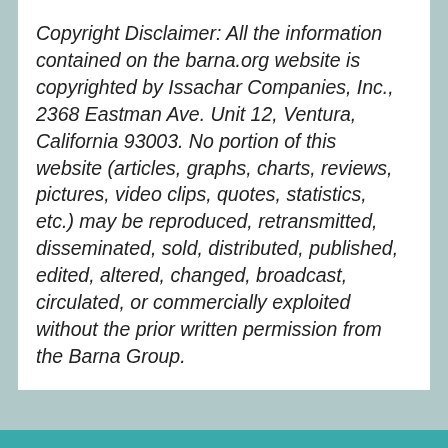Copyright Disclaimer: All the information contained on the barna.org website is copyrighted by Issachar Companies, Inc., 2368 Eastman Ave. Unit 12, Ventura, California 93003. No portion of this website (articles, graphs, charts, reviews, pictures, video clips, quotes, statistics, etc.) may be reproduced, retransmitted, disseminated, sold, distributed, published, edited, altered, changed, broadcast, circulated, or commercially exploited without the prior written permission from the Barna Group.